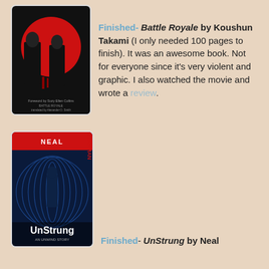[Figure (illustration): Book cover of Battle Royale - dark image with two figures in school uniforms against red circle, text at bottom]
Finished- Battle Royale by Koushun Takami (I only needed 100 pages to finish). It was an awesome book. Not for everyone since it's very violent and graphic. I also watched the movie and wrote a review.
[Figure (illustration): Book cover of UnStrung by Neal Shusterman - dark blue cover with swirling figure silhouette, red banner with author name]
Finished- UnStrung by Neal